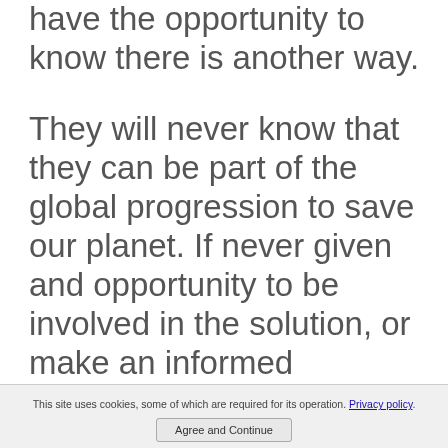have the opportunity to know there is another way.
They will never know that they can be part of the global progression to save our planet. If never given and opportunity to be involved in the solution, or make an informed decision, our landfills will continue to reflect the waste of information of previous generations.
This site uses cookies, some of which are required for its operation. Privacy policy
Agree and Continue